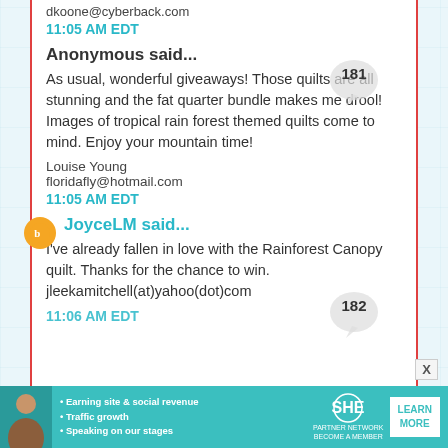dkoone@cyberback.com
11:05 AM EDT
Anonymous said...
As usual, wonderful giveaways! Those quilts are all stunning and the fat quarter bundle makes me drool! Images of tropical rain forest themed quilts come to mind. Enjoy your mountain time!
Louise Young
floridafly@hotmail.com
11:05 AM EDT
JoyceLM said...
I've already fallen in love with the Rainforest Canopy quilt. Thanks for the chance to win. jleekamitchell(at)yahoo(dot)com
11:06 AM EDT